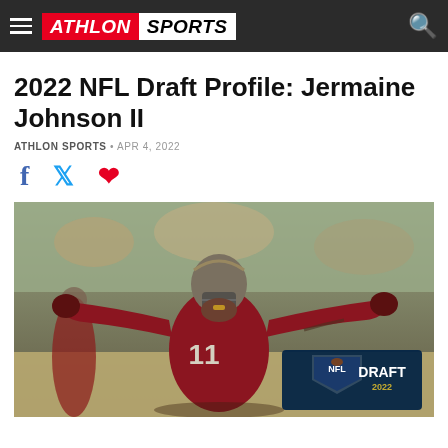ATHLON SPORTS
2022 NFL Draft Profile: Jermaine Johnson II
ATHLON SPORTS • APR 4, 2022
[Figure (photo): Jermaine Johnson II in Florida State Seminoles jersey #11, arms outstretched in celebration pose, wearing maroon uniform and helmet, with NFL Draft 2022 logo overlay in bottom right corner]